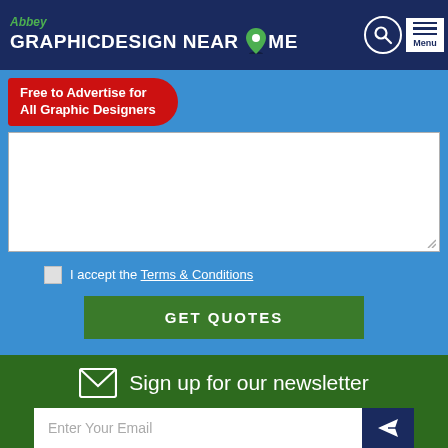Abbey GRAPHICDESIGN NEAR ME
[Figure (logo): Abbey Graphic Design Near Me website logo with map pin icon, search icon, and menu button on dark navy background]
Free to Advertise for All Graphic Designers
I accept the Terms & Conditions
GET QUOTES
Sign up for our newsletter
Enter Your Email
Popular Locations
Adelaide